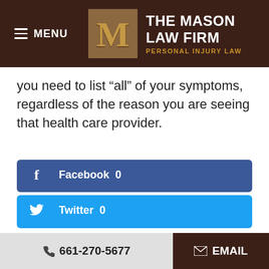[Figure (screenshot): The Mason Law Firm header with menu button and logo showing 'THE MASON LAW FIRM - PERSONAL INJURY LAW']
you need to list "all" of your symptoms, regardless of the reason you are seeing that health care provider.
[Figure (infographic): Facebook share button with count 0]
[Figure (infographic): Twitter share button with count 0]
[Figure (infographic): LinkedIn share button with count 0]
661-270-5677  EMAIL